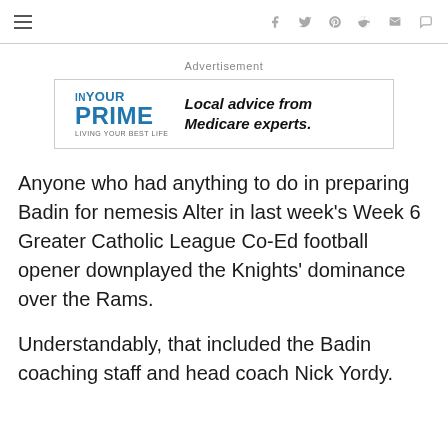Advertisement
[Figure (other): IN YOUR PRIME - Living Your Best Life advertisement with text: Local advice from Medicare experts.]
Anyone who had anything to do in preparing Badin for nemesis Alter in last week's Week 6 Greater Catholic League Co-Ed football opener downplayed the Knights' dominance over the Rams.
Understandably, that included the Badin coaching staff and head coach Nick Yordy.